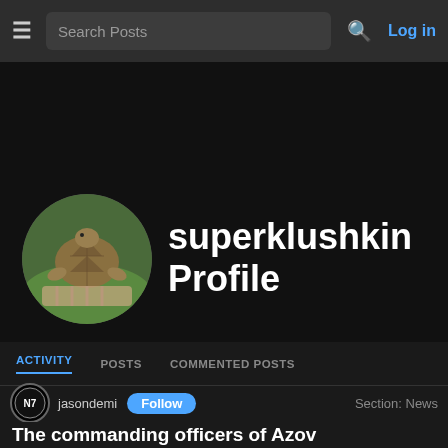Search Posts  Log in
superklushkin Profile
ACTIVITY  POSTS  COMMENTED POSTS
jasondemi  Follow  Section: News
The commanding officers of Azov